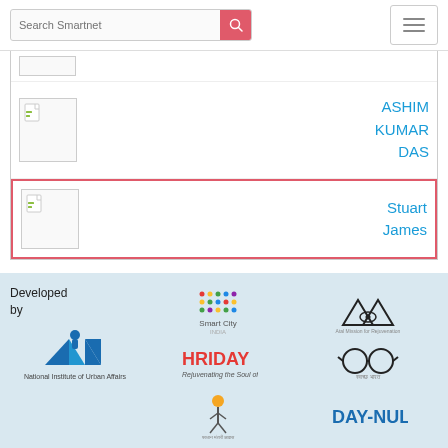Search Smartnet
ASHIM KUMAR DAS
Stuart James
Developed by
[Figure (logo): National Institute of Urban Affairs (NIUA) logo with blue triangular shapes]
[Figure (logo): Smart City India logo with colorful dot grid]
[Figure (logo): Atal Mission for Rejuvenation and Urban Transformation (AMRUT) logo]
[Figure (logo): HRIDAY - Rejuvenating the Soul of Urban India logo]
[Figure (logo): Swachh Bharat logo]
[Figure (logo): Pradhan Mantri Awas Yojana (PMAY) logo]
[Figure (logo): DAY-NULM logo]